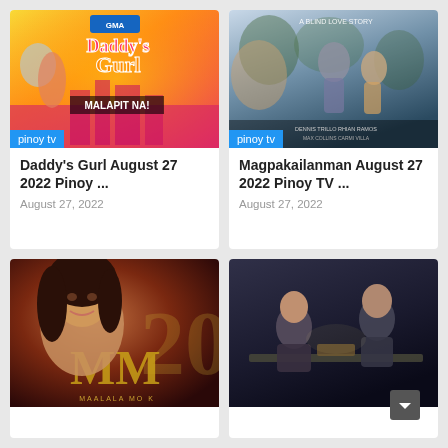[Figure (photo): Daddy's Gurl GMA TV show promotional image with text 'MALAPIT NA!' and colorful background]
pinoy tv
Daddy's Gurl August 27 2022 Pinoy ...
August 27, 2022
[Figure (photo): Magpakailanman blind love story poster showing two people walking]
pinoy tv
Magpakailanman August 27 2022 Pinoy TV ...
August 27, 2022
[Figure (photo): Maalala Mo Kaya 30th anniversary promo with female host and gold MM logo]
[Figure (photo): Action/drama scene with two people at a table in dark setting]